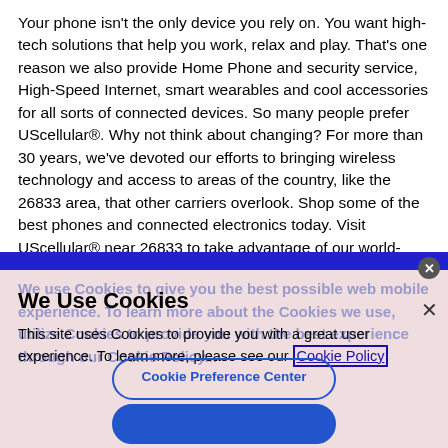Your phone isn't the only device you rely on. You want high-tech solutions that help you work, relax and play. That's one reason we also provide Home Phone and security service, High-Speed Internet, smart wearables and cool accessories for all sorts of connected devices. So many people prefer UScellular®. Why not think about changing? For more than 30 years, we've devoted our efforts to bringing wireless technology and access to areas of the country, like the 26833 area, that other carriers overlook. Shop some of the best phones and connected electronics today. Visit UScellular® near 26833 to take advantage of our world-class customer service, highly-rated network and products.
[Figure (screenshot): Cookie consent modal overlay on a pink/mauve background. Contains title 'We Use Cookies', body text about cookie policy with a Cookie Policy link, an X close button, a 'Cookie Preference Center' outlined button, and a partially visible filled blue accept button at the bottom.]